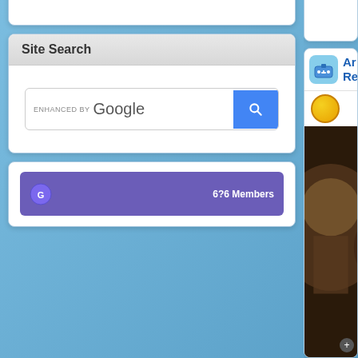[Figure (screenshot): White content box area, mostly empty, top portion of a webpage widget]
Site Search
[Figure (screenshot): Google-enhanced search bar with blue search button]
[Figure (screenshot): Bottom partial box with purple/violet inner bar showing partial text including '6?6 Members']
[Figure (screenshot): Right column top card with game image (PERUM OVERT...) and partial article text about Greenland]
[Figure (screenshot): Right column bottom card with app icon, AR text in blue, coin icon, and game screenshot]